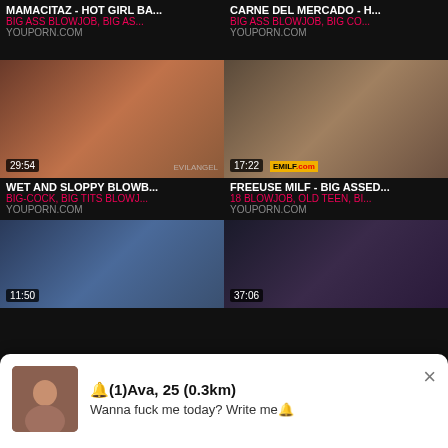MAMACITAZ - HOT GIRL BA...
BIG ASS BLOWJOB, BIG AS...
YOUPORN.COM
CARNE DEL MERCADO - H...
BIG ASS BLOWJOB, BIG CO...
YOUPORN.COM
[Figure (screenshot): Video thumbnail with duration 29:54, EVILANGEL watermark]
WET AND SLOPPY BLOWB...
BIG-COCK, BIG TITS BLOWJ...
YOUPORN.COM
[Figure (screenshot): Video thumbnail with duration 17:22, EMILF.com watermark]
FREEUSE MILF - BIG ASSED...
18 BLOWJOB, OLD TEEN, BI...
YOUPORN.COM
[Figure (screenshot): Partial video thumbnail with duration 11:50]
[Figure (screenshot): Partial video thumbnail with duration 37:06]
🔔(1)Ava, 25 (0.3km)
Wanna fuck me today? Write me🔔